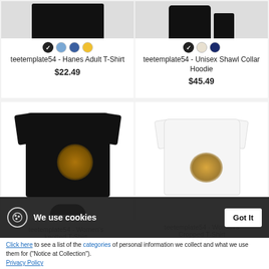[Figure (photo): Black Hanes Adult T-Shirt product image with color swatches (black selected, light blue, blue, yellow)]
teetemplate54 - Hanes Adult T-Shirt
$22.49
[Figure (photo): Unisex Shawl Collar Hoodie product image with color swatches (black selected, cream, navy)]
teetemplate54 - Unisex Shawl Collar Hoodie
$45.49
[Figure (photo): Black Women's knotted T-Shirt with golden angel graphic design]
[Figure (photo): White Women's Cropped T-Shirt with golden angel graphic design]
We use cookies
Got It
Click here to see a list of the categories of personal information we collect and what we use them for ("Notice at Collection").
Privacy Policy
Do Not Sell My Personal Information
By using this website, I agree to the Terms and Conditions
teetemplate54 - Women's knotted T-Shirt
$27.99
teetemplate54 - Women's Cropped T-Shirt
$27.49